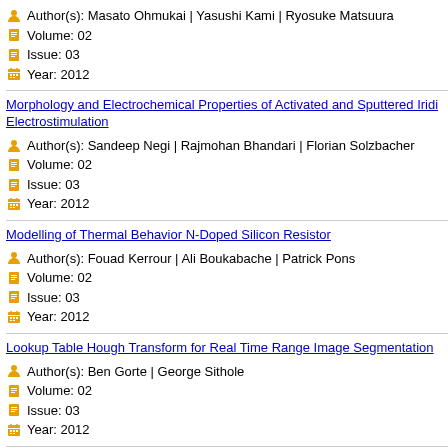Author(s): Masato Ohmukai | Yasushi Kami | Ryosuke Matsuura
Volume: 02
Issue: 03
Year: 2012
Morphology and Electrochemical Properties of Activated and Sputtered Iridi... Electrostimulation
Author(s): Sandeep Negi | Rajmohan Bhandari | Florian Solzbacher
Volume: 02
Issue: 03
Year: 2012
Modelling of Thermal Behavior N-Doped Silicon Resistor
Author(s): Fouad Kerrour | Ali Boukabache | Patrick Pons
Volume: 02
Issue: 03
Year: 2012
Lookup Table Hough Transform for Real Time Range Image Segmentation
Author(s): Ben Gorte | George Sithole
Volume: 02
Issue: 03
Year: 2012
Design and Development of an Electronic Sensor to Detect and Measure C... Energy